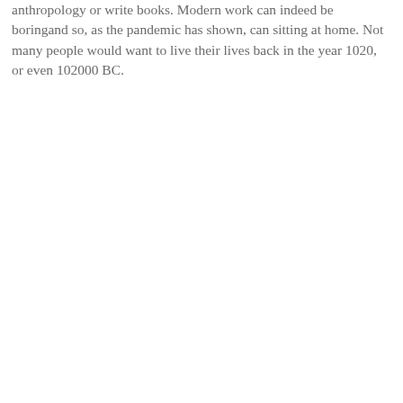anthropology or write books. Modern work can indeed be boringand so, as the pandemic has shown, can sitting at home. Not many people would want to live their lives back in the year 1020, or even 102000 BC.